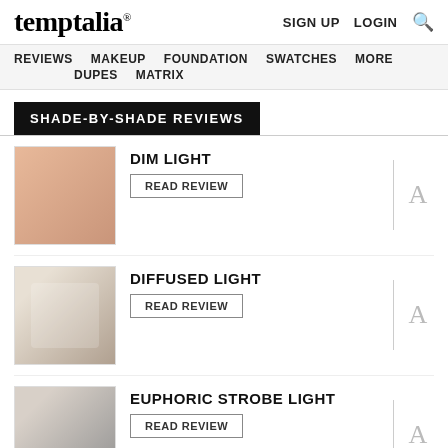temptalia® | SIGN UP  LOGIN  🔍
REVIEWS  MAKEUP  FOUNDATION  SWATCHES  MORE  DUPES  MATRIX
SHADE-BY-SHADE REVIEWS
[Figure (photo): Dim Light - peachy-nude powder compact swatch]
DIM LIGHT
READ REVIEW
[Figure (photo): Diffused Light - compact powder product photo]
DIFFUSED LIGHT
READ REVIEW
[Figure (photo): Euphoric Strobe Light - compact powder product photo]
EUPHORIC STROBE LIGHT
READ REVIEW
[Figure (photo): Filtered Bronze Light - bronze-toned powder swatch]
FILTERED BRONZE LIGHT
READ REVIEW
LUMINOUS GLOW